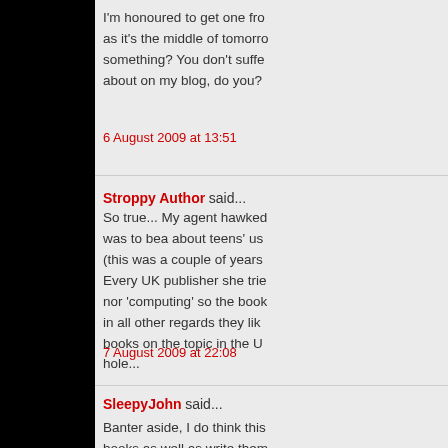I'm honoured to get one fro... as it's the middle of tomorro... something? You don't suffe... about on my blog, do you?
6 August 2009 at 13:51
Stroppy Author said...
So true... My agent hawked... was to bea about teens' us... (this was a couple of years... Every UK publisher she trie... nor 'computing' so the book... in all other regards they lik... books on the topic in the U... hole...
7 August 2009 at 22:08
SleepyJohn said...
Banter aside, I do think this... books as well as write them... pigeonholing, I think we ha... publisher or bookshop to se... or how to describe it. Havin...